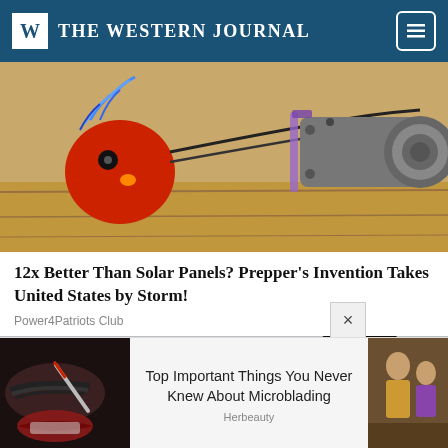W THE WESTERN JOURNAL
[Figure (photo): Homemade device with red spherical component wired with cables and a cylindrical metal motor on a wooden surface]
12x Better Than Solar Panels? Prepper's Invention Takes United States by Storm!
Power4Patriots Club
[Figure (photo): Person with dark hair sitting in what appears to be an airplane or vehicle seat]
[Figure (infographic): Advertisement banner with microblading eyebrow procedure image on left, text in center, and people image on right]
Top Important Things You Never Knew About Microblading
Herbeauty